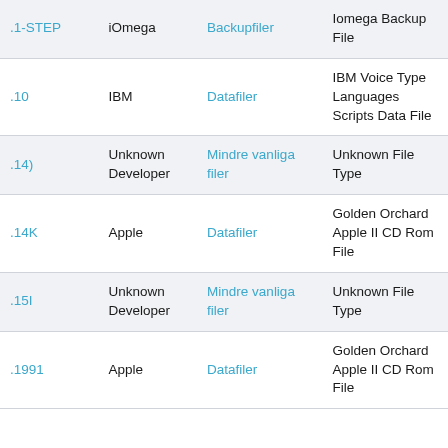| Extension | Developer | Category | Description |
| --- | --- | --- | --- |
| .1-STEP | iOmega | Backupfiler | Iomega Backup File |
| .10 | IBM | Datafiler | IBM Voice Type Languages Scripts Data File |
| .14) | Unknown Developer | Mindre vanliga filer | Unknown File Type |
| .14K | Apple | Datafiler | Golden Orchard Apple II CD Rom File |
| .15I | Unknown Developer | Mindre vanliga filer | Unknown File Type |
| .1991 | Apple | Datafiler | Golden Orchard Apple II CD Rom File |